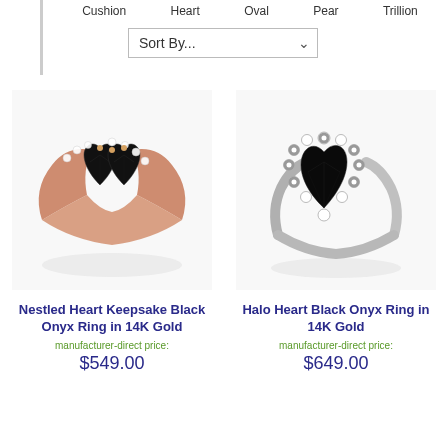Cushion  Heart  Oval  Pear  Trillion
Sort By...
[Figure (photo): Nestled Heart Keepsake Black Onyx Ring in 14K Gold - rose gold ring with two black heart-shaped onyx stones surrounded by diamonds]
Nestled Heart Keepsake Black Onyx Ring in 14K Gold
manufacturer-direct price:
$549.00
[Figure (photo): Halo Heart Black Onyx Ring in 14K Gold - white gold ring with a large black heart-shaped onyx stone surrounded by a halo of diamonds]
Halo Heart Black Onyx Ring in 14K Gold
manufacturer-direct price:
$649.00